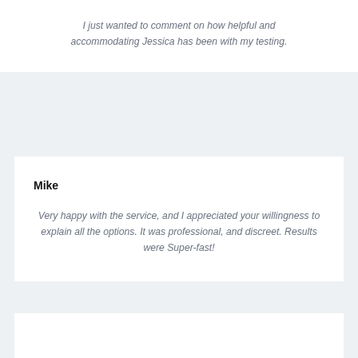I just wanted to comment on how helpful and accommodating Jessica has been with my testing.
Mike
Very happy with the service, and I appreciated your willingness to explain all the options. It was professional, and discreet. Results were Super-fast!